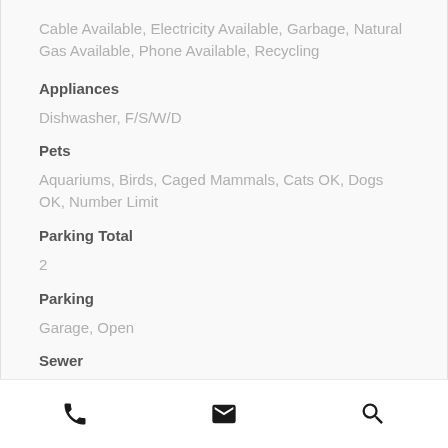Cable Available, Electricity Available, Garbage, Natural Gas Available, Phone Available, Recycling
Appliances
Dishwasher, F/S/W/D
Pets
Aquariums, Birds, Caged Mammals, Cats OK, Dogs OK, Number Limit
Parking Total
2
Parking
Garage, Open
Sewer
Phone | Email | Search